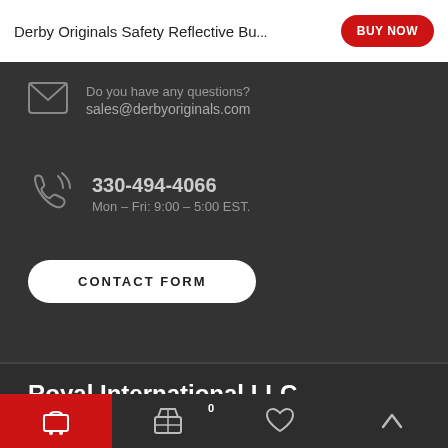Derby Originals Safety Reflective Bu... BUY NOW
Do you have any questions? sales@derbyoriginals.com
330-494-4066
Mon – Fri: 9:00 – 5:00 EST.
CONTACT FORM
Royal International LLC
7900 Whipple Avenue NW
North Canton, 44720 Ohio
Cart  Basket 0  Wishlist  Top